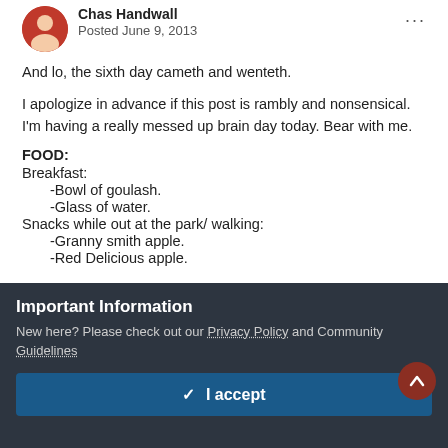Chas Handwall
Posted June 9, 2013
And lo, the sixth day cameth and wenteth.
I apologize in advance if this post is rambly and nonsensical. I'm having a really messed up brain day today. Bear with me.
FOOD:
Breakfast:
-Bowl of goulash.
-Glass of water.
Snacks while out at the park/ walking:
-Granny smith apple.
-Red Delicious apple.
Important Information
New here? Please check out our Privacy Policy and Community Guidelines
✓  I accept